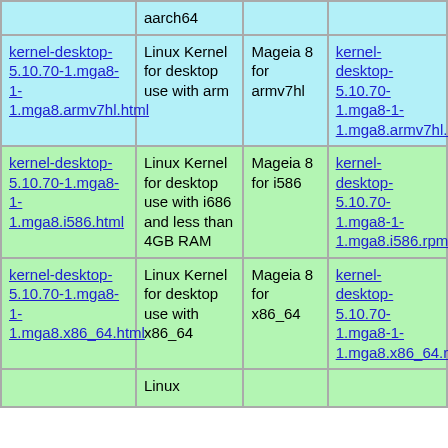|  |  |  |  |
| --- | --- | --- | --- |
|  | aarch64 |  |  |
| kernel-desktop-5.10.70-1.mga8-1-1.mga8.armv7hl.html | Linux Kernel for desktop use with arm | Mageia 8 for armv7hl | kernel-desktop-5.10.70-1.mga8-1-1.mga8.armv7hl.rpm |
| kernel-desktop-5.10.70-1.mga8-1-1.mga8.i586.html | Linux Kernel for desktop use with i686 and less than 4GB RAM | Mageia 8 for i586 | kernel-desktop-5.10.70-1.mga8-1-1.mga8.i586.rpm |
| kernel-desktop-5.10.70-1.mga8-1-1.mga8.x86_64.html | Linux Kernel for desktop use with x86_64 | Mageia 8 for x86_64 | kernel-desktop-5.10.70-1.mga8-1-1.mga8.x86_64.rpm |
|  | Linux |  |  |